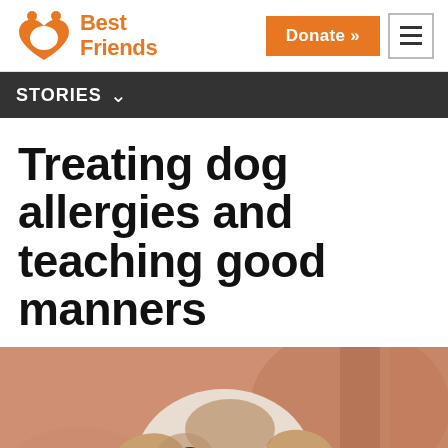Best Friends — Donate »
STORIES
Treating dog allergies and teaching good manners
[Figure (photo): A white and tan pit bull type dog looking at the camera with a blurred warm-toned background]